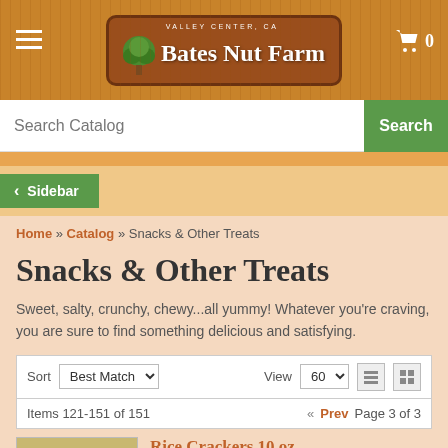Bates Nut Farm — Valley Center, CA
Search Catalog
Search
< Sidebar
Home » Catalog » Snacks & Other Treats
Snacks & Other Treats
Sweet, salty, crunchy, chewy...all yummy! Whatever you're craving, you are sure to find something delicious and satisfying.
Sort  Best Match  View  60  Items 121-151 of 151  « Prev  Page 3 of 3
Rice Crackers 10 oz